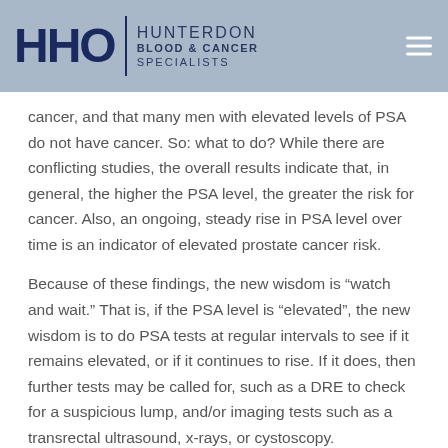HHO HUNTERDON BLOOD & CANCER SPECIALISTS
cancer, and that many men with elevated levels of PSA do not have cancer. So: what to do? While there are conflicting studies, the overall results indicate that, in general, the higher the PSA level, the greater the risk for cancer. Also, an ongoing, steady rise in PSA level over time is an indicator of elevated prostate cancer risk.
Because of these findings, the new wisdom is “watch and wait.” That is, if the PSA level is “elevated”, the new wisdom is to do PSA tests at regular intervals to see if it remains elevated, or if it continues to rise. If it does, then further tests may be called for, such as a DRE to check for a suspicious lump, and/or imaging tests such as a transrectal ultrasound, x-rays, or cystoscopy.